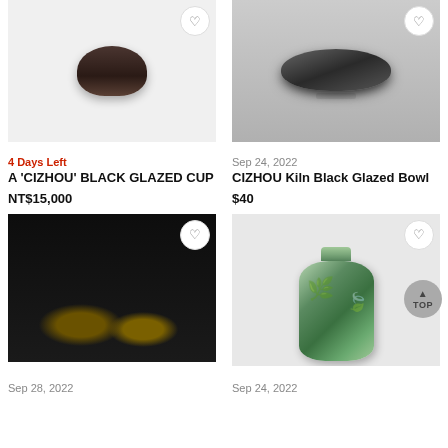[Figure (photo): Black glazed cup on white/gray background with heart favorite button]
[Figure (photo): Cizhou kiln black glazed bowl on gray background with heart favorite button]
4 Days Left
Sep 24, 2022
A 'CIZHOU' BLACK GLAZED CUP
CIZHOU Kiln Black Glazed Bowl
NT$15,000
$40
[Figure (photo): Gold metallic tree sculptures on dark background with heart favorite button]
[Figure (photo): Green celadon vase with floral relief carving and heart favorite button]
Sep 28, 2022
Sep 24, 2022